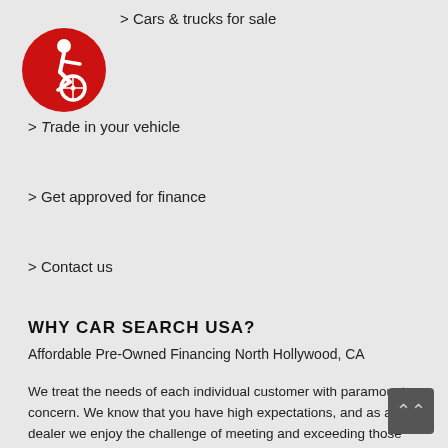> Cars & trucks for sale
[Figure (logo): Red circle with white wheelchair accessibility icon]
> Trade in your vehicle
> Get approved for finance
> Contact us
WHY CAR SEARCH USA?
Affordable Pre-Owned Financing North Hollywood, CA
We treat the needs of each individual customer with paramount concern. We know that you have high expectations, and as a car dealer we enjoy the challenge of meeting and exceeding those standards each and every time. Allow us to demonstrate our commitment to excellence! Our experienced sales staff is eager to share its knowledge and enthusiasm with you ...